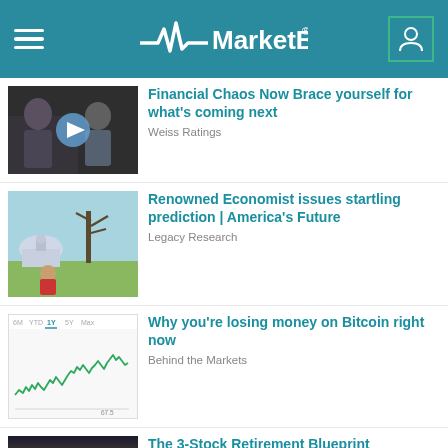MarketBeat
Financial Chaos Now Brace yourself for what's coming next
Weiss Ratings
Renowned Economist issues startling prediction | America's Future
Legacy Research
Why you're losing money on Bitcoin right now
Behind the Markets
The 3-Stock Retirement Blueprint
Legacy Research